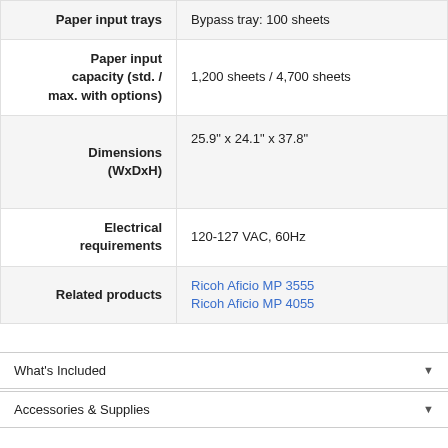| Spec | Value |
| --- | --- |
| Paper input trays | Bypass tray: 100 sheets |
| Paper input capacity (std. / max. with options) | 1,200 sheets / 4,700 sheets |
| Dimensions (WxDxH) | 25.9" x 24.1" x 37.8" |
| Electrical requirements | 120-127 VAC, 60Hz |
| Related products | Ricoh Aficio MP 3555
Ricoh Aficio MP 4055 |
What's Included
Accessories & Supplies